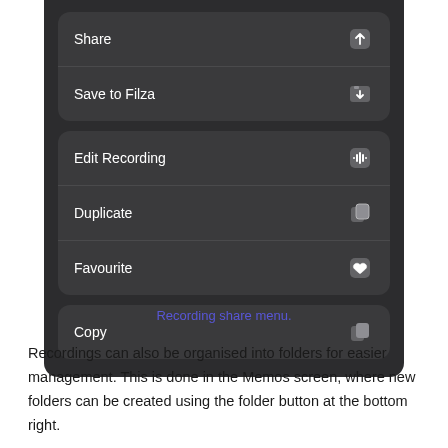[Figure (screenshot): Dark-themed mobile app share/action menu showing options: Share, Save to Filza, Edit Recording, Duplicate, Favourite, Copy — each with an icon on the right.]
Recording share menu.
Recordings can also be organised into folders for easier management. This is done in the Memos screen, where new folders can be created using the folder button at the bottom right.